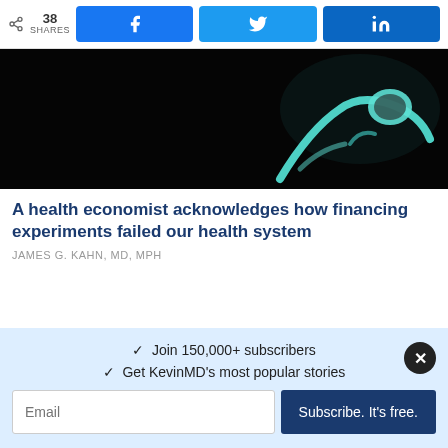38 SHARES | Share on Facebook | Share on Twitter | Share on LinkedIn
[Figure (photo): Dark close-up photo of a stethoscope with teal/turquoise coloring against a black background]
A health economist acknowledges how financing experiments failed our health system
JAMES G. KAHN, MD, MPH
✓ Join 150,000+ subscribers
✓ Get KevinMD's most popular stories